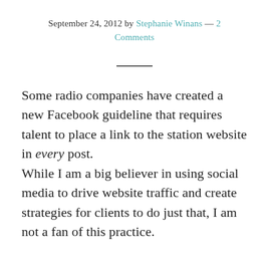September 24, 2012 by Stephanie Winans — 2 Comments
Some radio companies have created a new Facebook guideline that requires talent to place a link to the station website in every post.
While I am a big believer in using social media to drive website traffic and create strategies for clients to do just that, I am not a fan of this practice.